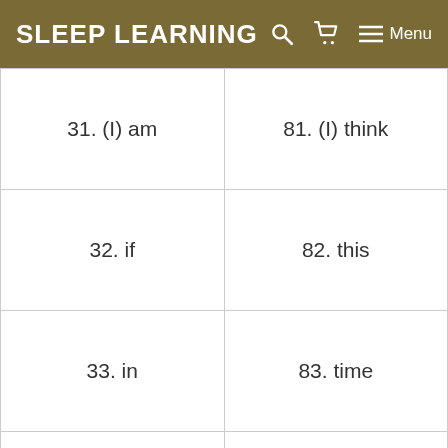SLEEP LEARNING
| 31. (I) am | 81. (I) think |
| 32. if | 82. this |
| 33. in | 83. time |
| 34. (I) know | 84. to |
| 35. last | 85. under |